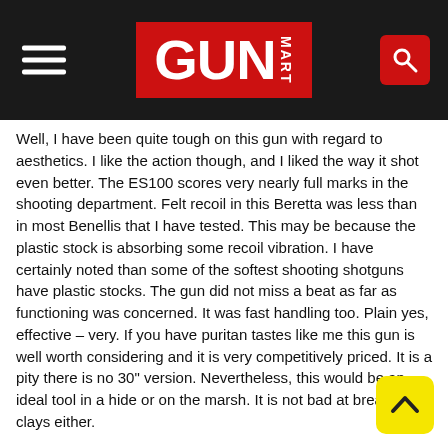GUN MART
Well, I have been quite tough on this gun with regard to aesthetics. I like the action though, and I liked the way it shot even better. The ES100 scores very nearly full marks in the shooting department. Felt recoil in this Beretta was less than in most Benellis that I have tested. This may be because the plastic stock is absorbing some recoil vibration. I have certainly noted than some of the softest shooting shotguns have plastic stocks. The gun did not miss a beat as far as functioning was concerned. It was fast handling too. Plain yes, effective – very. If you have puritan tastes like me this gun is well worth considering and it is very competitively priced. It is a pity there is no 30" version. Nevertheless, this would be an ideal tool in a hide or on the marsh. It is not bad at breaking clays either.
PRICE: £850 RRP
CONTACT: GMK